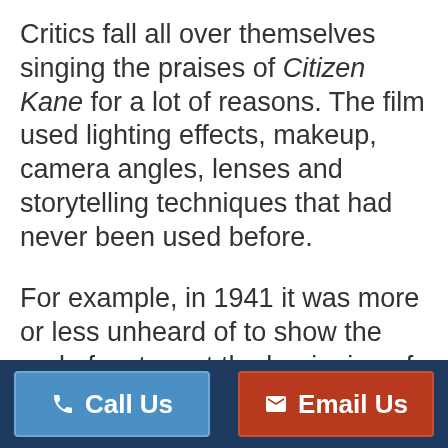Critics fall all over themselves singing the praises of Citizen Kane for a lot of reasons. The film used lighting effects, makeup, camera angles, lenses and storytelling techniques that had never been used before.
For example, in 1941 it was more or less unheard of to show the end of a story at the beginning of a film. But that's how Citizen Kane starts—at the end. The opening sequence shows the main
Call Us   Email Us